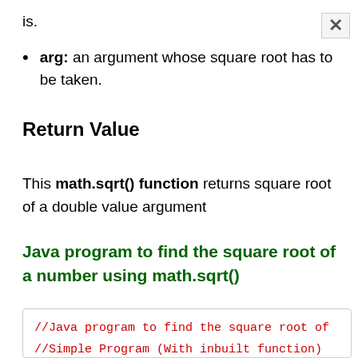is.
arg: an argument whose square root has to be taken.
Return Value
This math.sqrt() function returns square root of a double value argument
Java program to find the square root of a number using math.sqrt()
//Java program to find the square root of
//Simple Program (With inbuilt function)